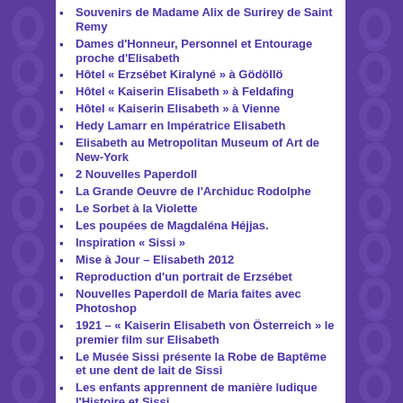Souvenirs de Madame Alix de Surirey de Saint Remy
Dames d'Honneur, Personnel et Entourage proche d'Elisabeth
Hôtel « Erzsébet Kiralyné » à Gödöllö
Hôtel « Kaiserin Elisabeth » à Feldafing
Hôtel « Kaiserin Elisabeth » à Vienne
Hedy Lamarr en Impératrice Elisabeth
Elisabeth au Metropolitan Museum of Art de New-York
2 Nouvelles Paperdoll
La Grande Oeuvre de l'Archiduc Rodolphe
Le Sorbet à la Violette
Les poupées de Magdaléna Héjjas.
Inspiration « Sissi »
Mise à Jour – Elisabeth 2012
Reproduction d'un portrait de Erzsébet
Nouvelles Paperdoll de Maria faites avec Photoshop
1921 – « Kaiserin Elisabeth von Österreich » le premier film sur Elisabeth
Le Musée Sissi présente la Robe de Baptême et une dent de lait de Sissi
Les enfants apprennent de manière ludique l'Histoire et Sissi